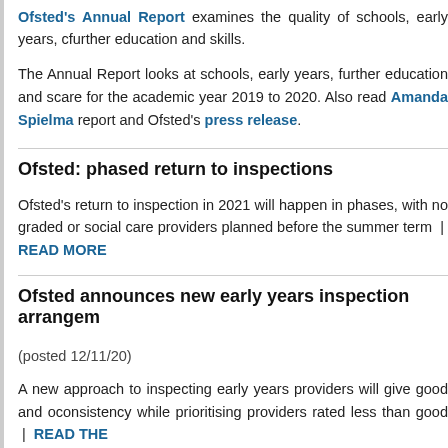Ofsted's Annual Report examines the quality of schools, early years, further education and skills.
The Annual Report looks at schools, early years, further education and social care for the academic year 2019 to 2020. Also read Amanda Spielman's report and Ofsted's press release.
Ofsted: phased return to inspections
Ofsted's return to inspection in 2021 will happen in phases, with no graded or social care providers planned before the summer term | READ MORE
Ofsted announces new early years inspection arrangements
(posted 12/11/20)
A new approach to inspecting early years providers will give good and outstanding consistency while prioritising providers rated less than good | READ THE
Events
Annual School Leadership Conference